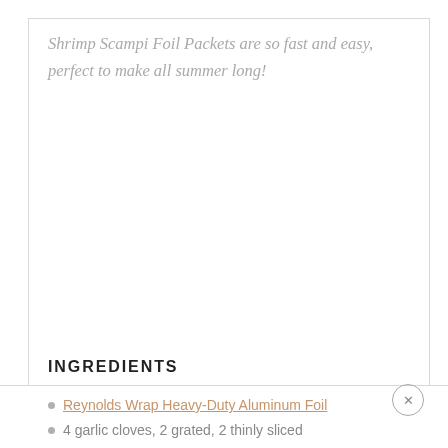Shrimp Scampi Foil Packets are so fast and easy, perfect to make all summer long!
INGREDIENTS
Reynolds Wrap Heavy-Duty Aluminum Foil
4 garlic cloves, 2 grated, 2 thinly sliced